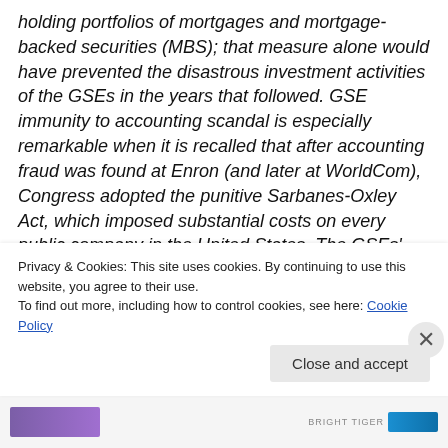holding portfolios of mortgages and mortgage-backed securities (MBS); that measure alone would have prevented the disastrous investment activities of the GSEs in the years that followed. GSE immunity to accounting scandal is especially remarkable when it is recalled that after accounting fraud was found at Enron (and later at WorldCom), Congress adopted the punitive Sarbanes-Oxley Act, which imposed substantial costs on every public company in the United States. The GSEs' investment in controlling their political risk–at least among the Democrats–was apparently money well spent.
Privacy & Cookies: This site uses cookies. By continuing to use this website, you agree to their use.
To find out more, including how to control cookies, see here: Cookie Policy